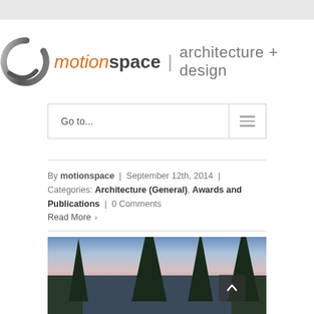[Figure (logo): motionspace architecture + design logo with swoosh icon]
Go to...
By motionspace | September 12th, 2014 | Categories: Architecture (General), Awards and Publications | 0 Comments
Read More ›
[Figure (photo): Exterior photo of a residential house at dusk with tall evergreen trees against a twilight sky]